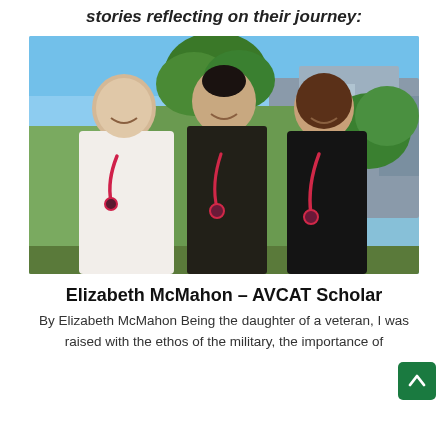stories reflecting on their journey:
[Figure (photo): Three young women standing together outdoors, all wearing stethoscopes. The woman on the left wears a white top, the woman in the center wears a black dotted dress, and the woman on the right wears a black top. Trees and a building are visible in the background.]
Elizabeth McMahon – AVCAT Scholar
By Elizabeth McMahon Being the daughter of a veteran, I was raised with the ethos of the military, the importance of